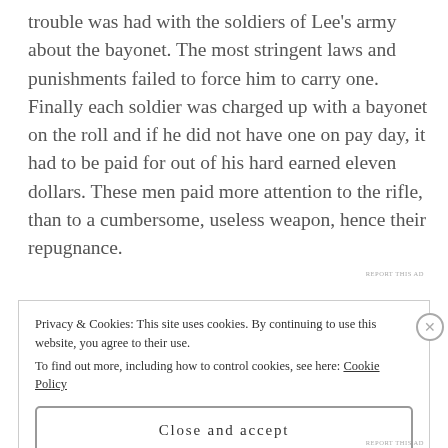trouble was had with the soldiers of Lee's army about the bayonet. The most stringent laws and punishments failed to force him to carry one. Finally each soldier was charged up with a bayonet on the roll and if he did not have one on pay day, it had to be paid for out of his hard earned eleven dollars. These men paid more attention to the rifle, than to a cumbersome, useless weapon, hence their repugnance.
Privacy & Cookies: This site uses cookies. By continuing to use this website, you agree to their use.
To find out more, including how to control cookies, see here: Cookie Policy
Close and accept